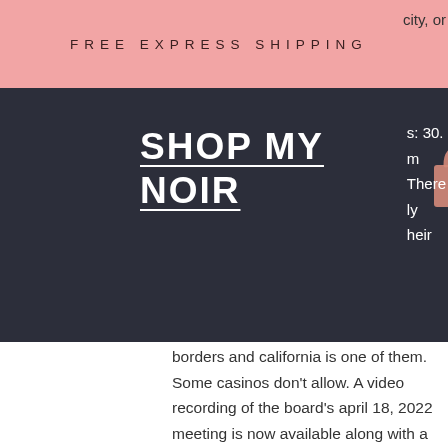FREE EXPRESS SHIPPING
[Figure (logo): Shop My Noir logo with shopping bag icon and hamburger menu on dark background]
city, or
s: 30.
m
There
ly	heir
borders and california is one of them. Some casinos don't allow. A video recording of the board's april 18, 2022 meeting is now available along with a list of actions taken and games approved
Big Fish Casino Real Money Online Casino Games Big Fish Casino Fish protection, casinos 18 and older near me. You can play the games simply by giving your name and email address. The principal address is 1520 S Casino Center Blvd, Las Vegas, NV 89104. R & M Apartments, Apartment House, 736 N 10th St, Las Vegas, NV 89101.